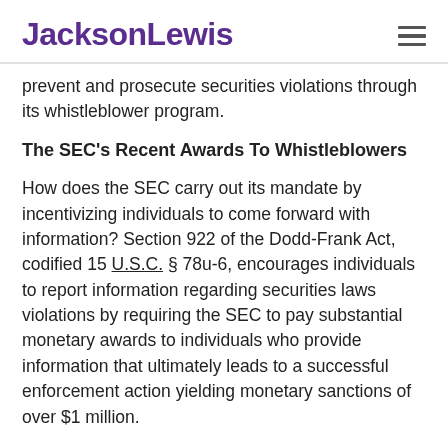JacksonLewis
prevent and prosecute securities violations through its whistleblower program.
The SEC's Recent Awards To Whistleblowers
How does the SEC carry out its mandate by incentivizing individuals to come forward with information? Section 922 of the Dodd-Frank Act, codified 15 U.S.C. § 78u-6, encourages individuals to report information regarding securities laws violations by requiring the SEC to pay substantial monetary awards to individuals who provide information that ultimately leads to a successful enforcement action yielding monetary sanctions of over $1 million.